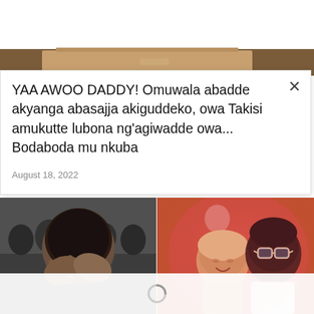[Figure (photo): Partial top image strip showing a brown/wooden background, partially cropped at top]
YAA AWOO DADDY! Omuwala abadde akyanga abasajja akiguddeko, owa Takisi amukutte lubona ng'agiwadde owa... Bodaboda mu nkuba
August 18, 2022
[Figure (photo): Two side-by-side photos: left shows a person covering their face with both hands against a dark crowd background; right shows two people at what appears to be a party with pink/red lighting, a woman smiling and a man with glasses. A loading spinner overlay partially covers the bottom of the photos.]